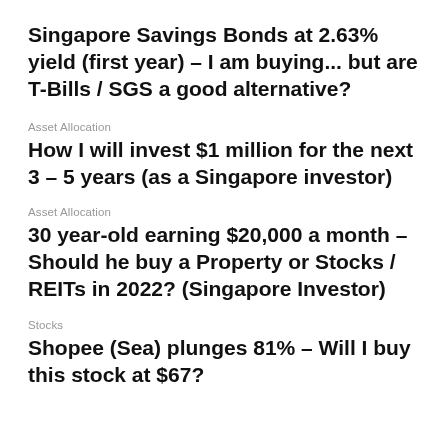Singapore Savings Bonds at 2.63% yield (first year) – I am buying... but are T-Bills / SGS a good alternative?
Asset Allocation
How I will invest $1 million for the next 3 – 5 years (as a Singapore investor)
Asset Allocation
30 year-old earning $20,000 a month – Should he buy a Property or Stocks / REITs in 2022? (Singapore Investor)
Stocks
Shopee (Sea) plunges 81% – Will I buy this stock at $67?